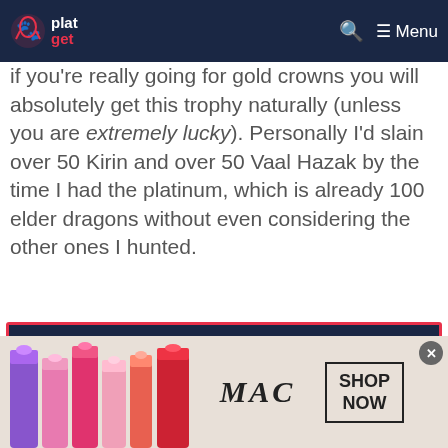plat get — Menu
if you're really going for gold crowns you will absolutely get this trophy naturally (unless you are extremely lucky). Personally I'd slain over 50 Kirin and over 50 Vaal Hazak by the time I had the platinum, which is already 100 elder dragons without even considering the other ones I hunted.
[Figure (other): Trophy card with shield icon for 'Indomitable' trophy. Dark navy background with pink/red border. Title: Indomitable. Description: Hunt 50 tempered monsters.]
Tempered hunts are a little different. They have good odds when it comes to Gold Crowns, but when farming crowns they're not always the best choice
[Figure (photo): MAC Cosmetics advertisement banner showing colorful lipsticks, MAC logo, and SHOP NOW button.]